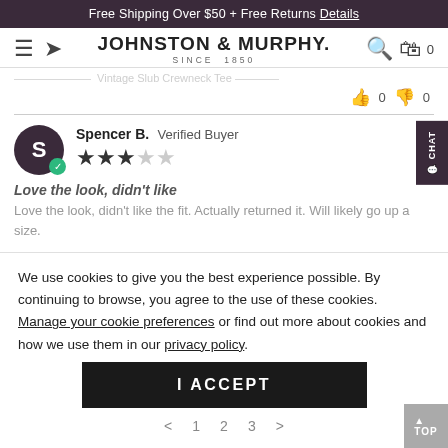Free Shipping Over $50 + Free Returns Details
[Figure (logo): Johnston & Murphy logo with hamburger menu, location pin, search and bag icons]
Love the look, didn't like the fit. Actually returned it. Will likely go up a size.
Spencer B. Verified Buyer — 3 out of 5 stars
Love the look, didn't like
Love the look, didn't like the fit. Actually returned it. Will likely go up a size.
We use cookies to give you the best experience possible. By continuing to browse, you agree to the use of these cookies. Manage your cookie preferences or find out more about cookies and how we use them in our privacy policy.
I ACCEPT